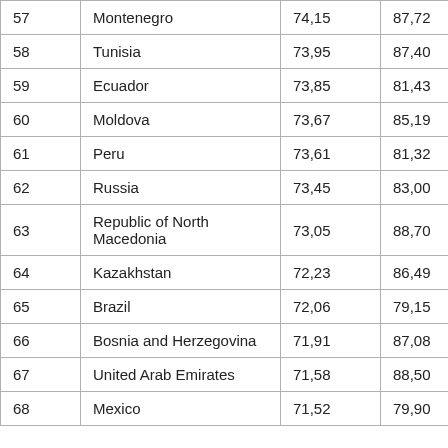| # | Country | Value1 | Value2 |
| --- | --- | --- | --- |
| 57 | Montenegro | 74,15 | 87,72 |
| 58 | Tunisia | 73,95 | 87,40 |
| 59 | Ecuador | 73,85 | 81,43 |
| 60 | Moldova | 73,67 | 85,19 |
| 61 | Peru | 73,61 | 81,32 |
| 62 | Russia | 73,45 | 83,00 |
| 63 | Republic of North Macedonia | 73,05 | 88,70 |
| 64 | Kazakhstan | 72,23 | 86,49 |
| 65 | Brazil | 72,06 | 79,15 |
| 66 | Bosnia and Herzegovina | 71,91 | 87,08 |
| 67 | United Arab Emirates | 71,58 | 88,50 |
| 68 | Mexico | 71,52 | 79,90 |